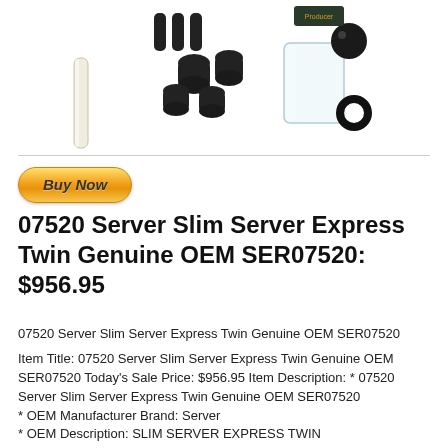[Figure (photo): Product photo showing a kit of parts including clear tubes, black rubber fittings/caps, and a small clear container with a black ball valve or nozzle — components of the Server Slim Server Express Twin kit]
07520 Server Slim Server Express Twin Genuine OEM SER07520: $956.95
07520 Server Slim Server Express Twin Genuine OEM SER07520
Item Title: 07520 Server Slim Server Express Twin Genuine OEM SER07520 Today's Sale Price: $956.95 Item Description: * 07520 Server Slim Server Express Twin Genuine OEM SER07520 * OEM Manufacturer Brand: Server * OEM Description: SLIM SERVER EXPRESS TWIN * Item Condition = New